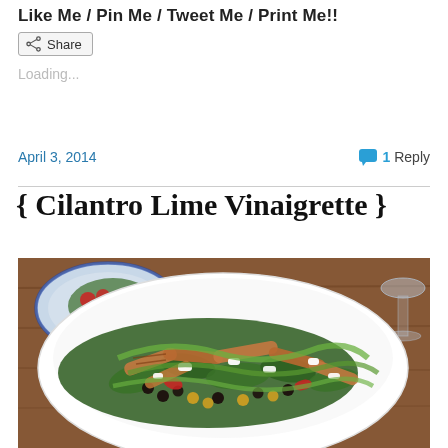Like Me / Pin Me / Tweet Me / Print Me!!
Share
Loading...
April 3, 2014
1 Reply
{ Cilantro Lime Vinaigrette }
[Figure (photo): A white bowl filled with a salad of spinach leaves, grilled chicken strips, black beans, corn, red peppers, feta cheese, and green cilantro lime vinaigrette dressing. A second salad plate and a wine glass are visible in the background on a wooden table.]